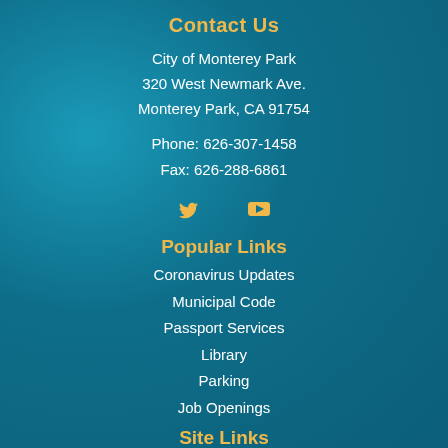Contact Us
City of Monterey Park
320 West Newmark Ave.
Monterey Park, CA 91754
Phone: 626-307-1458
Fax: 626-288-6861
[Figure (illustration): Twitter bird icon and YouTube play button icon in gold/amber color]
Popular Links
Coronavirus Updates
Municipal Code
Passport Services
Library
Parking
Job Openings
Site Links